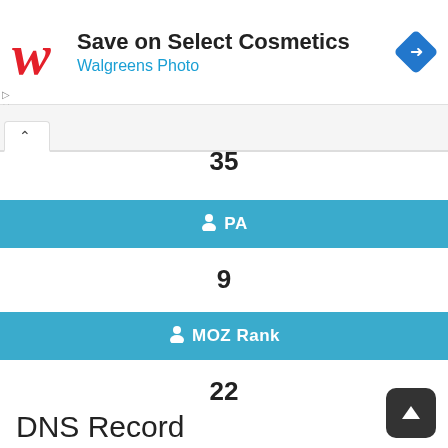[Figure (other): Walgreens advertisement banner with logo, text 'Save on Select Cosmetics / Walgreens Photo', and a blue direction arrow icon]
35
PA
9
MOZ Rank
22
DNS Record